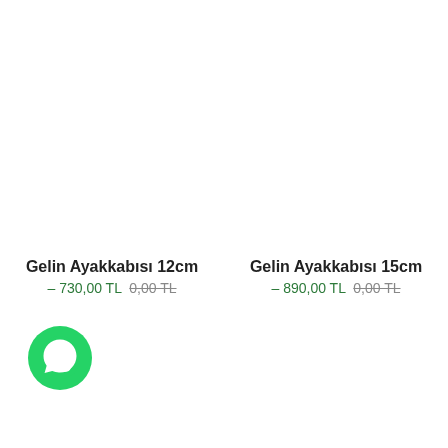Gelin Ayakkabısı 12cm – 730,00 TL 0,00 TL
Gelin Ayakkabısı 15cm – 890,00 TL 0,00 TL
[Figure (logo): WhatsApp circular green logo icon]